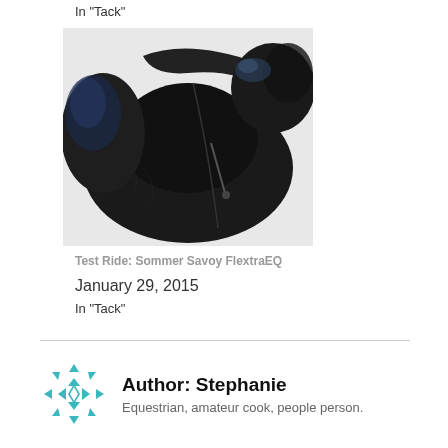In "Tack"
[Figure (photo): Close-up photograph of a black leather dressage saddle, showing the seat, knee roll, and flap with a zipper detail.]
Test Ride: Sommer Savoy FlextraEQ
January 29, 2015
In "Tack"
Author: Stephanie
Equestrian, amateur cook, people person.